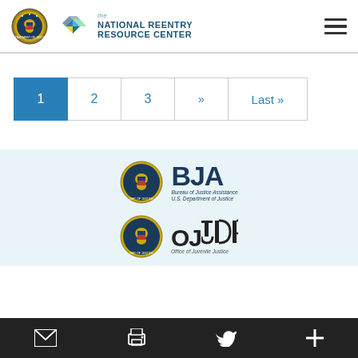the National Reentry Resource Center
[Figure (logo): Pagination bar with buttons: 1 (active/blue), 2, 3, >>, Last »]
[Figure (logo): BJA Bureau of Justice Assistance, U.S. Department of Justice logo with DOJ seal]
[Figure (logo): OJJDP Office of Juvenile Justice logo with DOJ seal]
Bottom toolbar with email, print, Twitter, and plus icons